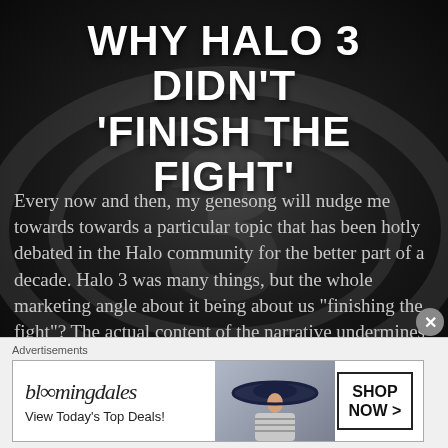WHY HALO 3 DIDN'T 'FINISH THE FIGHT'
Every now and then, my genesong will nudge me towards towards a particular topic that has been hotly debated in the Halo community for the better part of a decade. Halo 3 was many things, but the whole marketing angle about it being about us “finishing the fight”? The actual content of the narrative undermines that [...]
[Figure (illustration): Halo 3 logo watermark in background on dark textured surface]
Advertisements
[Figure (illustration): Bloomingdale's advertisement banner: logo, 'View Today's Top Deals!', woman in wide-brim hat, 'SHOP NOW >' button]